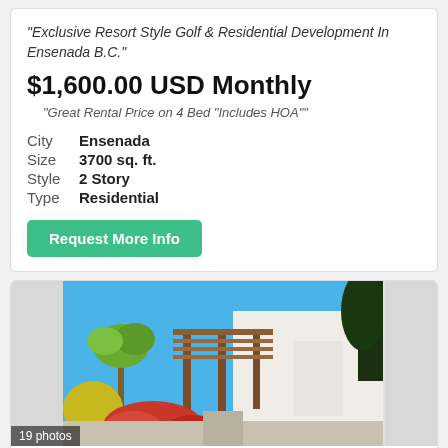"Exclusive Resort Style Golf & Residential Development In Ensenada B.C."
$1,600.00 USD Monthly
"Great Rental Price on 4 Bed "Includes HOA""
| Label | Value |
| --- | --- |
| City | Ensenada |
| Size | 3700 sq. ft. |
| Style | 2 Story |
| Type | Residential |
Request More Info
[Figure (photo): Exterior photo of a modern white two-story residential villa with wooden pergola, palm trees, tropical plants and flowering bushes, blue sky background. Shows '19 photos' label.]
Villas Punta Piedra#70 , Suite 70, Villas punta piedra